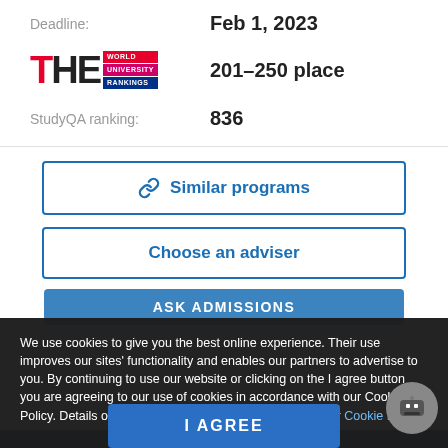Deadline: Feb 1, 2023
[Figure (logo): THE World University Rankings logo]
201–250 place
StudyQA ranking: 836
Similar programs
Choose an adviser
ASK ADMISSIONS
We use cookies to give you the best online experience. Their use improves our sites' functionality and enables our partners to advertise to you. By continuing to use our website or clicking on the I agree button you are agreeing to our use of cookies in accordance with our Cookie Policy. Details on how we use cookies can be found in our Cookie Policy
I AGREE
Physics